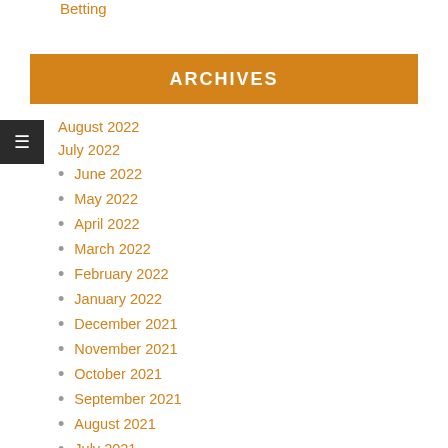Betting
ARCHIVES
August 2022
July 2022
June 2022
May 2022
April 2022
March 2022
February 2022
January 2022
December 2021
November 2021
October 2021
September 2021
August 2021
July 2021
June 2021